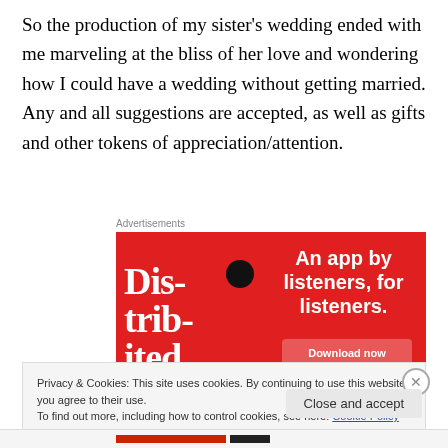So the production of my sister's wedding ended with me marveling at the bliss of her love and wondering how I could have a wedding without getting married. Any and all suggestions are accepted, as well as gifts and other tokens of appreciation/attention.
Advertisements
[Figure (other): Advertisement banner with red background showing a smartphone with 'Dis-trib-uted' text on screen, and text reading 'An app by listeners, for listeners.' with a Download now button.]
Privacy & Cookies: This site uses cookies. By continuing to use this website, you agree to their use.
To find out more, including how to control cookies, see here: Cookie Policy
Close and accept